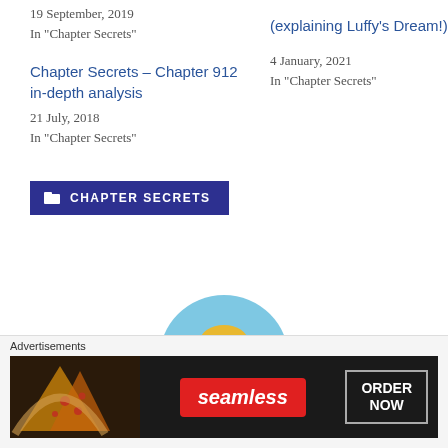19 September, 2019
In "Chapter Secrets"
(explaining Luffy's Dream!)
4 January, 2021
In "Chapter Secrets"
Chapter Secrets – Chapter 912 in-depth analysis
21 July, 2018
In "Chapter Secrets"
[Figure (illustration): Anime character avatar – Monkey D. Luffy with straw hat and purple sunglasses on a light blue circular background]
CHAPTER SECRETS (category button)
Advertisements
[Figure (photo): Seamless food delivery advertisement banner with pizza image on left, Seamless logo in red in center, and ORDER NOW button on right on dark background]